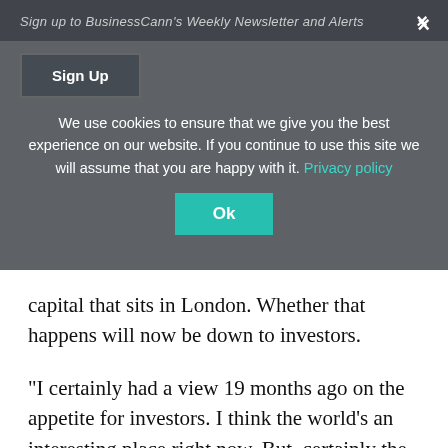Sign up to BusinessCann's Weekly Newsletter and Alerts
We use cookies to ensure that we give you the best experience on our website. If you continue to use this site we will assume that you are happy with it. Privacy policy
capital that sits in London. Whether that happens will now be down to investors.
“I certainly had a view 19 months ago on the appetite for investors. I think the world’s an interesting place right now. But, certainly the family offices continue to be interested and some of the alternative funds.
“The question is; Will medical investors, pharmaceutical investors, generalist investors come into the sector? And will this statement by